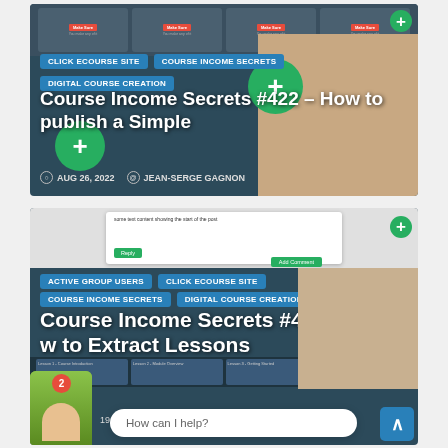[Figure (screenshot): Course Income Secrets #422 blog post card with thumbnail strip, tags, title, date and author]
CLICK ECOURSE SITE
COURSE INCOME SECRETS
DIGITAL COURSE CREATION
Course Income Secrets #422 – How to publish a Simple
AUG 26, 2022   JEAN-SERGE GAGNON
[Figure (screenshot): Course Income Secrets #421 blog post card with screenshot of comment, tags, title and How can I help chat bubble overlay]
ACTIVE GROUP USERS
CLICK ECOURSE SITE
COURSE INCOME SECRETS
DIGITAL COURSE CREATION
Course Income Secrets #421 w to Extract Lessons
19   GAGNON
How can I help?